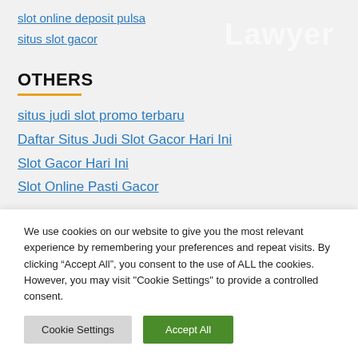slot online deposit pulsa
situs slot gacor
OTHERS
situs judi slot promo terbaru
Daftar Situs Judi Slot Gacor Hari Ini
Slot Gacor Hari Ini
Slot Online Pasti Gacor
We use cookies on our website to give you the most relevant experience by remembering your preferences and repeat visits. By clicking “Accept All”, you consent to the use of ALL the cookies. However, you may visit "Cookie Settings" to provide a controlled consent.
Cookie Settings | Accept All